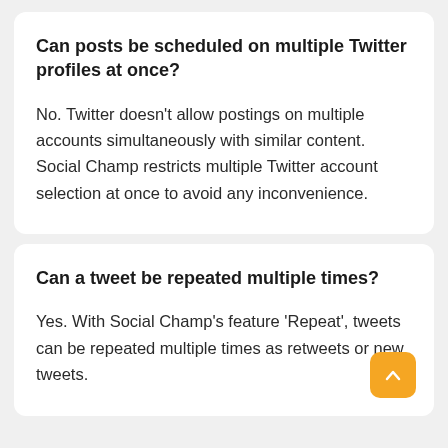Can posts be scheduled on multiple Twitter profiles at once?
No. Twitter doesn't allow postings on multiple accounts simultaneously with similar content. Social Champ restricts multiple Twitter account selection at once to avoid any inconvenience.
Can a tweet be repeated multiple times?
Yes. With Social Champ's feature 'Repeat', tweets can be repeated multiple times as retweets or new tweets.